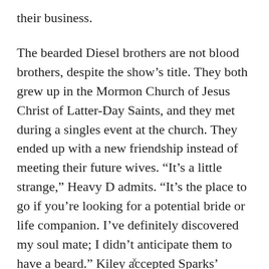their business.
The bearded Diesel brothers are not blood brothers, despite the show's title. They both grew up in the Mormon Church of Jesus Christ of Latter-Day Saints, and they met during a singles event at the church. They ended up with a new friendship instead of meeting their future wives. “It’s a little strange,” Heavy D admits. “It’s the place to go if you’re looking for a potential bride or life companion. I’ve definitely discovered my soul mate; I didn’t anticipate them to have a beard.” Kiley accepted Sparks’ invitation to hang out at a lake with some buddies, thinking it would be a great opportunity to meet girls. Heaw D
x